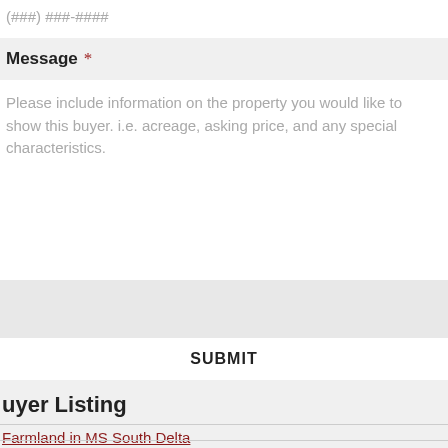(###) ###-####
Message *
Please include information on the property you would like to show this buyer. i.e. acreage, asking price, and any special characteristics.
SUBMIT
uyer Listing
Farmland in MS South Delta
Wayne/Clarke Counties 50+ Acres